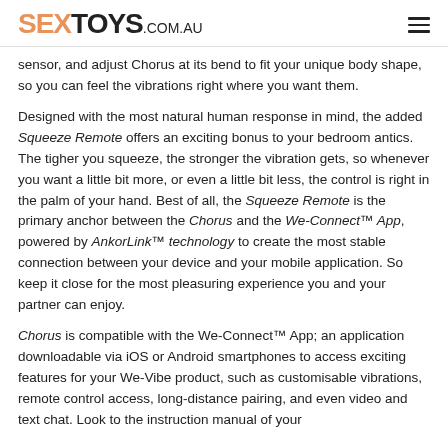SEXTOYS.COM.AU
sensor, and adjust Chorus at its bend to fit your unique body shape, so you can feel the vibrations right where you want them.
Designed with the most natural human response in mind, the added Squeeze Remote offers an exciting bonus to your bedroom antics. The tigher you squeeze, the stronger the vibration gets, so whenever you want a little bit more, or even a little bit less, the control is right in the palm of your hand. Best of all, the Squeeze Remote is the primary anchor between the Chorus and the We-Connect™ App, powered by AnkorLink™ technology to create the most stable connection between your device and your mobile application. So keep it close for the most pleasuring experience you and your partner can enjoy.
Chorus is compatible with the We-Connect™ App; an application downloadable via iOS or Android smartphones to access exciting features for your We-Vibe product, such as customisable vibrations, remote control access, long-distance pairing, and even video and text chat. Look to the instruction manual of your